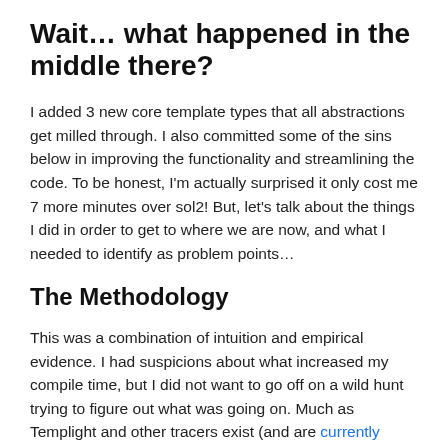Wait… what happened in the middle there?
I added 3 new core template types that all abstractions get milled through. I also committed some of the sins below in improving the functionality and streamlining the code. To be honest, I'm actually surprised it only cost me 7 more minutes over sol2! But, let's talk about the things I did in order to get to where we are now, and what I needed to identify as problem points…
The Methodology
This was a combination of intuition and empirical evidence. I had suspicions about what increased my compile time, but I did not want to go off on a wild hunt trying to figure out what was going on. Much as Templight and other tracers exist (and are currently being worked on) I kept my assumptions in the